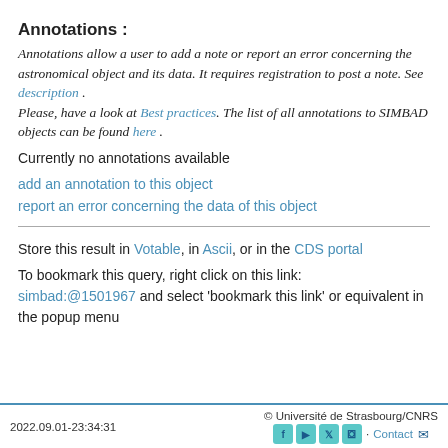Annotations :
Annotations allow a user to add a note or report an error concerning the astronomical object and its data. It requires registration to post a note. See description . Please, have a look at Best practices. The list of all annotations to SIMBAD objects can be found here .
Currently no annotations available
add an annotation to this object
report an error concerning the data of this object
Store this result in Votable, in Ascii, or in the CDS portal
To bookmark this query, right click on this link: simbad:@1501967 and select 'bookmark this link' or equivalent in the popup menu
2022.09.01-23:34:31   © Université de Strasbourg/CNRS   Contact